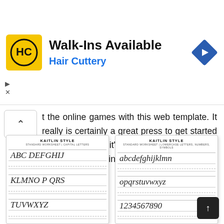[Figure (other): Hair Cuttery advertisement banner with logo, title 'Walk-Ins Available', subtitle 'Hair Cuttery', and a navigation arrow icon]
t the online games with this web template. It really is certainly a great press to get started on learning, and it's a lot better than playing the video games in device.
[Figure (illustration): Kaitlin Style calligraphy worksheet showing capital letters in cursive script - STANDARD WORKSHEET | CAPITAL LETTERS]
[Figure (illustration): Kaitlin Style calligraphy worksheet showing lowercase letters, numbers, symbols in cursive script - STANDARD WORKSHEET | LOWERCASE LETTERS, NUMBERS, SYMBOLS]